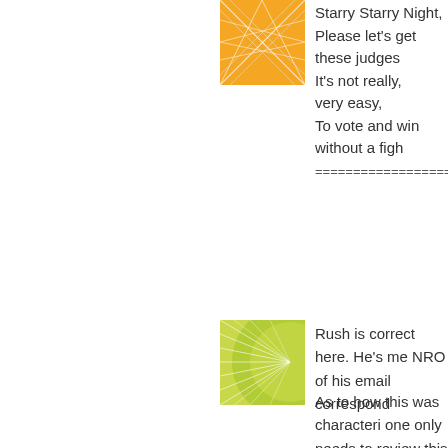[Figure (illustration): Orange square avatar with geometric line pattern]
Starry Starry Night,
Please let's get these judges
It's not really,
very easy,
To vote and win without a fight
====================
[Figure (illustration): Green square avatar with radial/fan pattern]
Rush is correct here. He's me NRO of his email correspond
As to how this was characteri one only needs to review this the very, very inside beltway Mickey's wrong here. Not onl highlighted, but it's clear that and false impression that Sta "assaulting" the judiciary, whe that he said the very opposite journalistic credibility is reeki
Frontrunner excerpt follows:
"Ken Starr Says Filibuster Ru